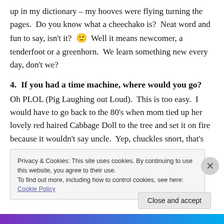up in my dictionary – my hooves were flying turning the pages.  Do you know what a cheechako is?  Neat word and fun to say, isn't it?  🙂  Well it means newcomer, a tenderfoot or a greenhorn.  We learn something new every day, don't we?
4.  If you had a time machine, where would you go?
Oh PLOL (Pig Laughing out Loud).  This is too easy.  I would have to go back to the 80's when mom tied up her lovely red haired Cabbage Doll to the tree and set it on fire because it wouldn't say uncle.  Yep, chuckles snort, that's
Privacy & Cookies: This site uses cookies. By continuing to use this website, you agree to their use.
To find out more, including how to control cookies, see here: Cookie Policy
Close and accept